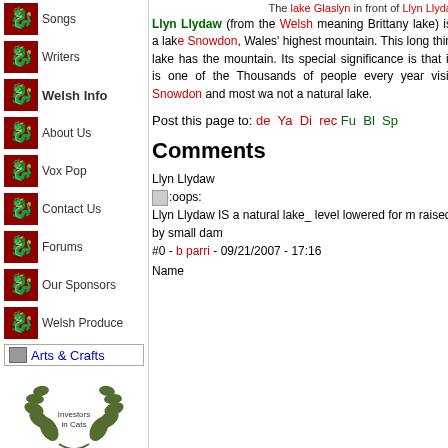Songs
Writers
Welsh Info
About Us
Vox Pop
Contact Us
Forums
Our Sponsors
Welsh Produce
[Figure (illustration): Arts & Crafts link with small image]
[Figure (illustration): Investors in Cats laurel wreath logo]
The lake Glaslyn in front of Llyn Llydaw
Llyn Llydaw (from the Welsh meaning Brittany lake) is a lake on Snowdon, Wales' highest mountain. This long thin lake has the mountain. Its special significance is that it is one of the Thousands of people every year visit Snowdon and most wa not a natural lake.
Post this page to: de Ya Di rec Fu Bl Sp
Comments
Llyn Llydaw
:oops:
Llyn Llydaw IS a natural lake_ level lowered for m raised by small dam
#0 - b parri - 09/21/2007 - 17:16
Name